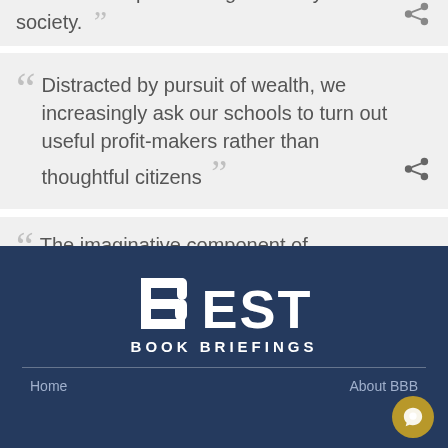are crucial to pre-serving a healthy society.
Distracted by pursuit of wealth, we increasingly ask our schools to turn out useful profit-makers rather than thoughtful citizens
The imaginative component of democratic education requires careful selectivity
[Figure (logo): Best Book Briefings logo with stylized B and text EST, BOOK BRIEFINGS]
Home   About BBB